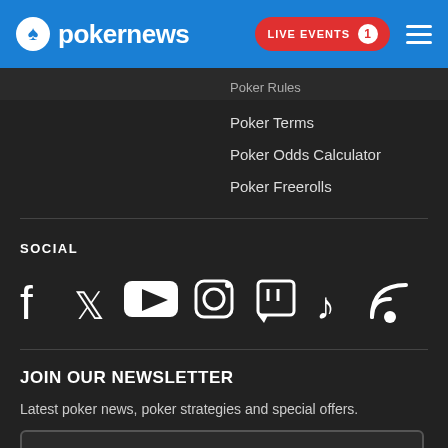pokernews — LIVE EVENTS 1
Poker Terms
Poker Odds Calculator
Poker Freerolls
SOCIAL
[Figure (infographic): Social media icons: Facebook, Twitter, YouTube, Instagram, Twitch, TikTok, RSS]
JOIN OUR NEWSLETTER
Latest poker news, poker strategies and special offers.
Enter your email